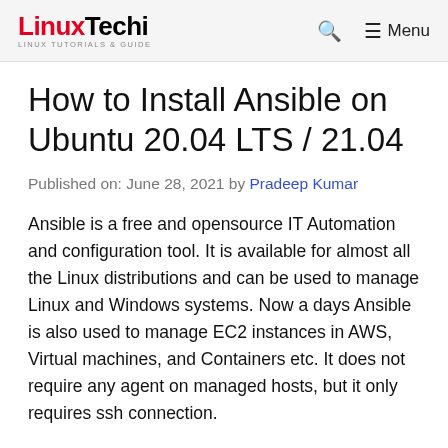LinuxTechi LINUX TUTORIALS & GUIDE | Search | Menu
How to Install Ansible on Ubuntu 20.04 LTS / 21.04
Published on: June 28, 2021 by Pradeep Kumar
Ansible is a free and opensource IT Automation and configuration tool. It is available for almost all the Linux distributions and can be used to manage Linux and Windows systems. Now a days Ansible is also used to manage EC2 instances in AWS, Virtual machines, and Containers etc. It does not require any agent on managed hosts, but it only requires ssh connection.